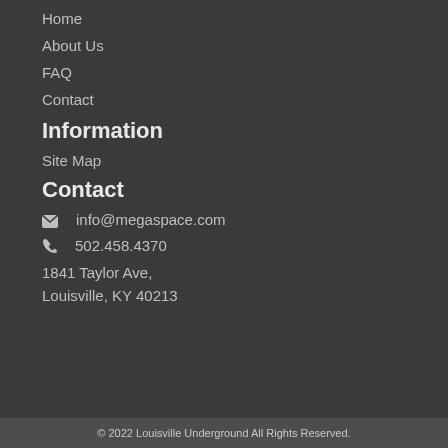Home
About Us
FAQ
Contact
Information
Site Map
Contact
✉ info@megaspace.com
✆ 502.458.4370
1841 Taylor Ave,
Louisville, KY 40213
© 2022 Louisville Underground All Rights Reserved.